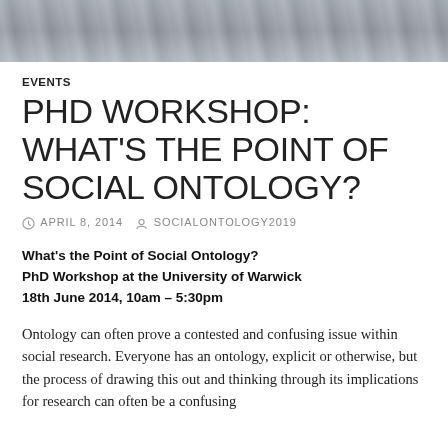[Figure (photo): Grayscale photo strip showing architectural or aerial detail, used as a decorative header image]
EVENTS
PHD WORKSHOP: WHAT'S THE POINT OF SOCIAL ONTOLOGY?
APRIL 8, 2014   SOCIALONTOLOGY2019
What's the Point of Social Ontology?
PhD Workshop at the University of Warwick
18th June 2014, 10am – 5:30pm
Ontology can often prove a contested and confusing issue within social research. Everyone has an ontology, explicit or otherwise, but the process of drawing this out and thinking through its implications for research can often be a confusing